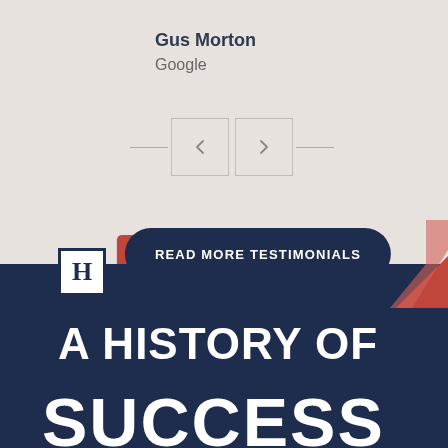Gus Morton
Google
[Figure (other): Navigation arrows: left arrow button and right arrow button]
READ MORE TESTIMONIALS
SUBMIT A TESTIMONIAL
[Figure (logo): H logo mark in a square border]
A HISTORY OF
SUCCESS